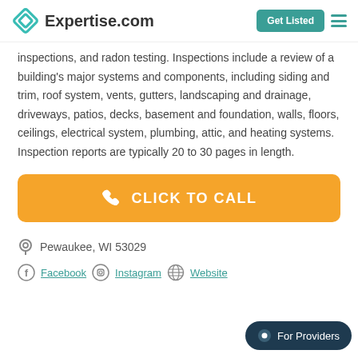Expertise.com | Get Listed
inspections, and radon testing. Inspections include a review of a building's major systems and components, including siding and trim, roof system, vents, gutters, landscaping and drainage, driveways, patios, decks, basement and foundation, walls, floors, ceilings, electrical system, plumbing, attic, and heating systems. Inspection reports are typically 20 to 30 pages in length.
[Figure (other): Orange CLICK TO CALL button with phone icon]
Pewaukee, WI 53029
Facebook  Instagram  Website